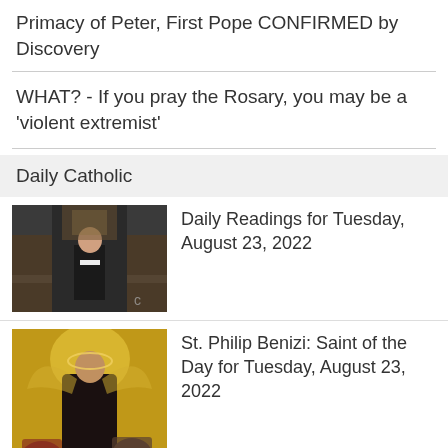Primacy of Peter, First Pope CONFIRMED by Discovery
WHAT? - If you pray the Rosary, you may be a 'violent extremist'
Daily Catholic
Daily Readings for Tuesday, August 23, 2022
St. Philip Benizi: Saint of the Day for Tuesday, August 23, 2022
A Prayer for a Sick Child: Prayer of the Day for Tuesday, August 23,